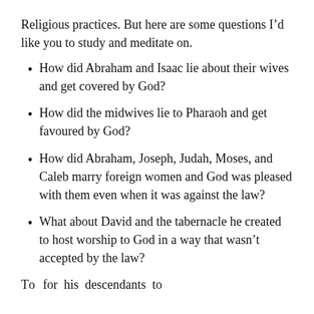Religious practices. But here are some questions I’d like you to study and meditate on.
How did Abraham and Isaac lie about their wives and get covered by God?
How did the midwives lie to Pharaoh and get favoured by God?
How did Abraham, Joseph, Judah, Moses, and Caleb marry foreign women and God was pleased with them even when it was against the law?
What about David and the tabernacle he created to host worship to God in a way that wasn’t accepted by the law?
T...